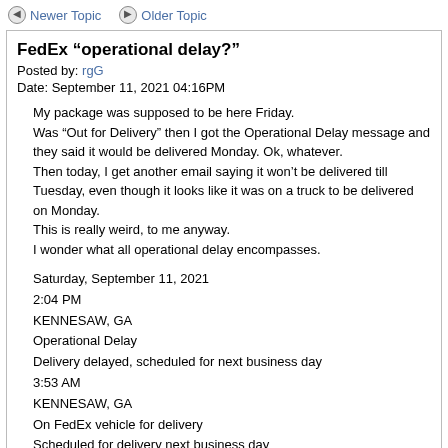Newer Topic  Older Topic
FedEx “operational delay?"
Posted by: rgG
Date: September 11, 2021 04:16PM
My package was supposed to be here Friday.
Was “Out for Delivery” then I got the Operational Delay message and they said it would be delivered Monday. Ok, whatever.
Then today, I get another email saying it won’t be delivered till Tuesday, even though it looks like it was on a truck to be delivered on Monday.
This is really weird, to me anyway.
I wonder what all operational delay encompasses.
Saturday, September 11, 2021
2:04 PM
KENNESAW, GA
Operational Delay
Delivery delayed, scheduled for next business day
3:53 AM
KENNESAW, GA
On FedEx vehicle for delivery
Scheduled for delivery next business day
3:50 AM
KENNESAW, GA
Arrived at FedEx location
3:40 AM